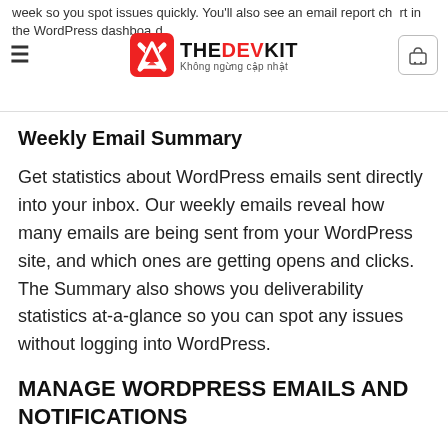week so you spot issues quickly. You'll also see an email report chart in the WordPress dashboard.
Weekly Email Summary
Get statistics about WordPress emails sent directly into your inbox. Our weekly emails reveal how many emails are being sent from your WordPress site, and which ones are getting opens and clicks. The Summary also shows you deliverability statistics at-a-glance so you can spot any issues without logging into WordPress.
MANAGE WORDPRESS EMAILS AND NOTIFICATIONS
The Manage Notification feature gives you full control over which email notifications WordPress sends. This means you can disable different WordPress notification